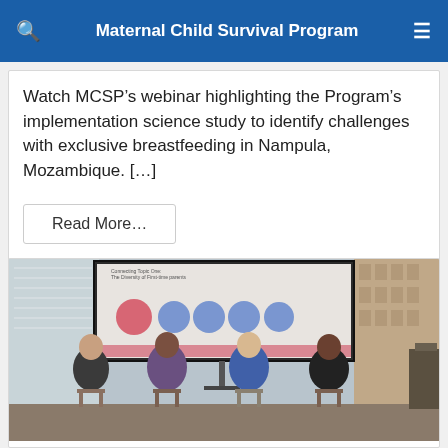Maternal Child Survival Program
Watch MCSP’s webinar highlighting the Program’s implementation science study to identify challenges with exclusive breastfeeding in Nampula, Mozambique. […]
Read More…
[Figure (photo): Four women seated in chairs at a panel event in front of a projection screen displaying a presentation titled 'Connecting Topic One: The Diversity of First-time parents'.]